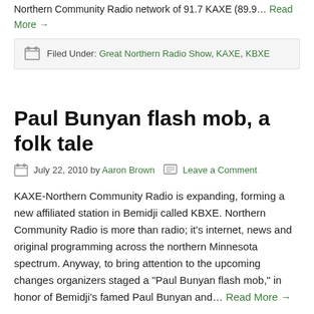Northern Community Radio network of 91.7 KAXE (89.9… Read More →
Filed Under: Great Northern Radio Show, KAXE, KBXE
Paul Bunyan flash mob, a folk tale
July 22, 2010 by Aaron Brown  Leave a Comment
KAXE-Northern Community Radio is expanding, forming a new affiliated station in Bemidji called KBXE. Northern Community Radio is more than radio; it's internet, news and original programming across the northern Minnesota spectrum. Anyway, to bring attention to the upcoming changes organizers staged a "Paul Bunyan flash mob," in honor of Bemidji's famed Paul Bunyan and… Read More →
Filed Under: bemidji, KAXE, KBXE, media, Northern Community Radio